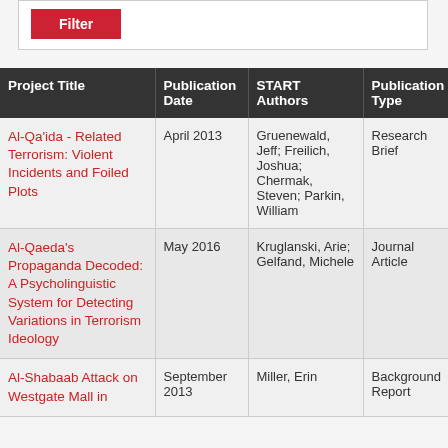| Project Title | Publication Date | START Authors | Publication Type |
| --- | --- | --- | --- |
| Al-Qa'ida - Related Terrorism: Violent Incidents and Foiled Plots | April 2013 | Gruenewald, Jeff; Freilich, Joshua; Chermak, Steven; Parkin, William | Research Brief |
| Al-Qaeda's Propaganda Decoded: A Psycholinguistic System for Detecting Variations in Terrorism Ideology | May 2016 | Kruglanski, Arie; Gelfand, Michele | Journal Article |
| Al-Shabaab Attack on Westgate Mall in | September 2013 | Miller, Erin | Background Report |